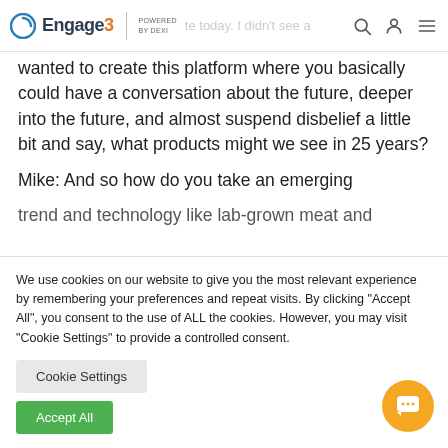Engage3 POWERED BY DEXI
wanted to create this platform where you basically could have a conversation about the future, deeper into the future, and almost suspend disbelief a little bit and say, what products might we see in 25 years?
Mike: And so how do you take an emerging trend and technology like lab-grown meat and
We use cookies on our website to give you the most relevant experience by remembering your preferences and repeat visits. By clicking “Accept All”, you consent to the use of ALL the cookies. However, you may visit "Cookie Settings" to provide a controlled consent.